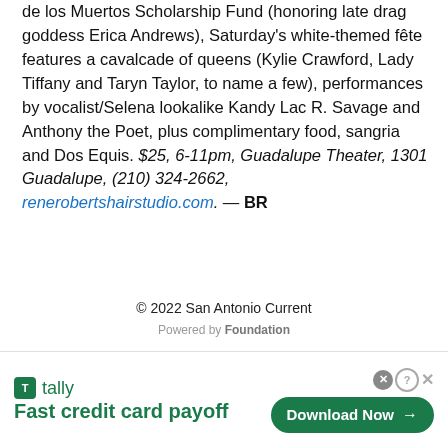de los Muertos Scholarship Fund (honoring late drag goddess Erica Andrews), Saturday's white-themed fête features a cavalcade of queens (Kylie Crawford, Lady Tiffany and Taryn Taylor, to name a few), performances by vocalist/Selena lookalike Kandy Lac R. Savage and Anthony the Poet, plus complimentary food, sangria and Dos Equis. $25, 6-11pm, Guadalupe Theater, 1301 Guadalupe, (210) 324-2662, renerobertshairstudio.com. — BR
© 2022 San Antonio Current
Powered by Foundation
[Figure (screenshot): Advertisement banner for Tally app: logo with green square icon, text 'tally' and tagline 'Fast credit card payoff', with a green 'Download Now →' button and close/help icons in upper right.]